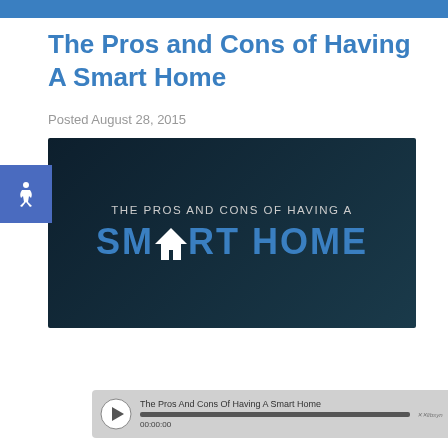The Pros and Cons of Having A Smart Home
Posted August 28, 2015
[Figure (infographic): Infographic thumbnail with dark background showing 'THE PROS AND CONS OF HAVING A SMART HOME' text with a house icon replacing the 'A' in SMART. Has an accessibility (wheelchair) badge overlay in blue.]
The Pros And Cons Of Having A Smart Home
00:00:00